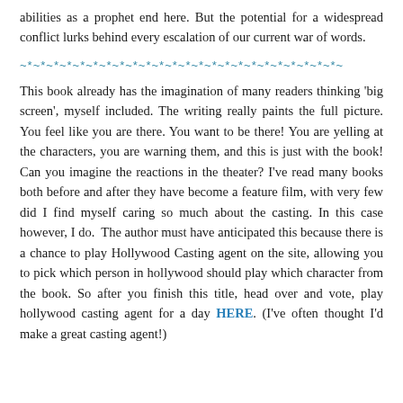abilities as a prophet end here. But the potential for a widespread conflict lurks behind every escalation of our current war of words.
~*~*~*~*~*~*~*~*~*~*~*~*~*~*~*~*~*~*~*~*~*~*~*~*~
This book already has the imagination of many readers thinking 'big screen', myself included. The writing really paints the full picture. You feel like you are there. You want to be there! You are yelling at the characters, you are warning them, and this is just with the book! Can you imagine the reactions in the theater? I've read many books both before and after they have become a feature film, with very few did I find myself caring so much about the casting. In this case however, I do.  The author must have anticipated this because there is a chance to play Hollywood Casting agent on the site, allowing you to pick which person in hollywood should play which character from the book. So after you finish this title, head over and vote, play hollywood casting agent for a day HERE. (I've often thought I'd make a great casting agent!)